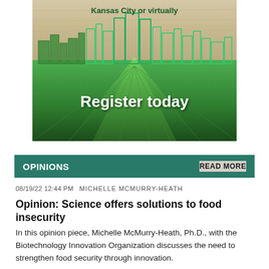[Figure (illustration): Promotional banner for an agricultural/biotech event in Kansas City or virtually, showing a green city skyline outline over a green field with rays of light, with bold text 'Register today' and 'Kansas City or virtually']
OPINIONS    READ MORE
08/19/22 12:44 PM   MICHELLE MCMURRY-HEATH
Opinion: Science offers solutions to food insecurity
In this opinion piece, Michelle McMurry-Heath, Ph.D., with the Biotechnology Innovation Organization discusses the need to strengthen food security through innovation.